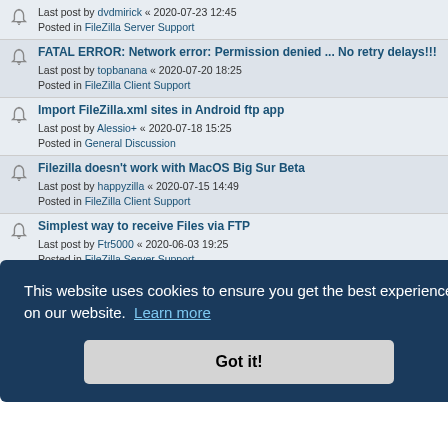Last post by dvdmirick « 2020-07-23 12:45
Posted in FileZilla Server Support
FATAL ERROR: Network error: Permission denied ... No retry delays!!!
Last post by topbanana « 2020-07-20 18:25
Posted in FileZilla Client Support
Import FileZilla.xml sites in Android ftp app
Last post by Alessio+ « 2020-07-18 15:25
Posted in General Discussion
Filezilla doesn't work with MacOS Big Sur Beta
Last post by happyzilla « 2020-07-15 14:49
Posted in FileZilla Client Support
Simplest way to receive Files via FTP
Last post by Ftr5000 « 2020-06-03 19:25
Posted in FileZilla Server Support
Reup File with Path?
Last post by 2slow « 2020-05-31 19:46
Posted in General Discussion
This website uses cookies to ensure you get the best experience on our website. Learn more
Got it!